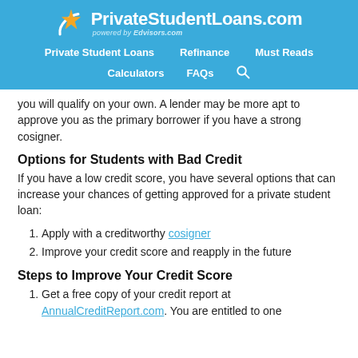PrivateStudentLoans.com powered by Edvisors.com | Private Student Loans | Refinance | Must Reads | Calculators | FAQs
you will qualify on your own. A lender may be more apt to approve you as the primary borrower if you have a strong cosigner.
Options for Students with Bad Credit
If you have a low credit score, you have several options that can increase your chances of getting approved for a private student loan:
1. Apply with a creditworthy cosigner
2. Improve your credit score and reapply in the future
Steps to Improve Your Credit Score
1. Get a free copy of your credit report at AnnualCreditReport.com. You are entitled to one